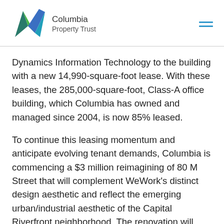[Figure (logo): Columbia Property Trust logo with colorful geometric leaf/checkmark shapes in teal, green, and blue]
Dynamics Information Technology to the building with a new 14,990-square-foot lease. With these leases, the 285,000-square-foot, Class-A office building, which Columbia has owned and managed since 2004, is now 85% leased.
To continue this leasing momentum and anticipate evolving tenant demands, Columbia is commencing a $3 million reimagining of 80 M Street that will complement WeWork's distinct design aesthetic and reflect the emerging urban/industrial aesthetic of the Capital Riverfront neighborhood. The renovation will create an open, collaborative environment to encourage socializing